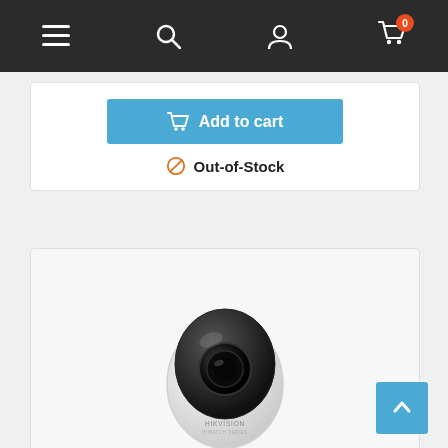Navigation bar with menu, search, user, and cart icons
Add to cart
Out-of-Stock
[Figure (photo): Hikvision HiWatch IP Cube camera, white globe-shaped body with black dome top lens, sitting on a round white stand/base, viewed from slight angle]
BRAND: HIWATCH
CAMERA IP CUBE 2MP 2.0MM IR10M